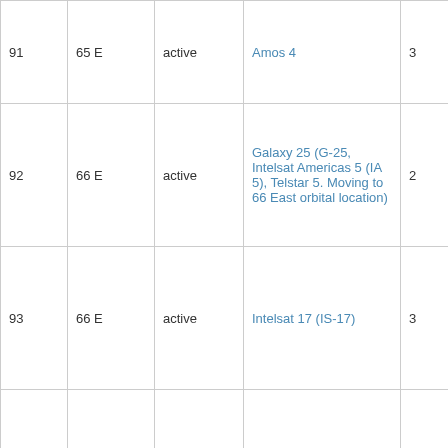| # | Position | Status | Name |  |
| --- | --- | --- | --- | --- |
| 91 | 65 E | active | Amos 4 | 3 |
| 92 | 66 E | active | Galaxy 25 (G-25, Intelsat Americas 5 (IA 5), Telstar 5. Moving to 66 East orbital location) | 2 |
| 93 | 66 E | active | Intelsat 17 (IS-17) | 3 |
| 94 | 69 E | active | Intelsat 20 (IS-20) | 3 |
|  |  |  |  |  |